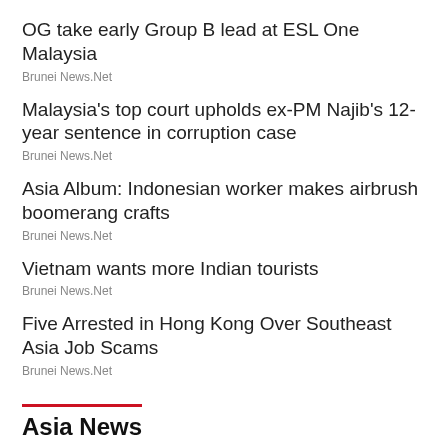OG take early Group B lead at ESL One Malaysia
Brunei News.Net
Malaysia's top court upholds ex-PM Najib's 12-year sentence in corruption case
Brunei News.Net
Asia Album: Indonesian worker makes airbrush boomerang crafts
Brunei News.Net
Vietnam wants more Indian tourists
Brunei News.Net
Five Arrested in Hong Kong Over Southeast Asia Job Scams
Brunei News.Net
Asia News
[Figure (photo): Airplane flying against a blue sky]
A worried China to use cloud seeding to try and save grain